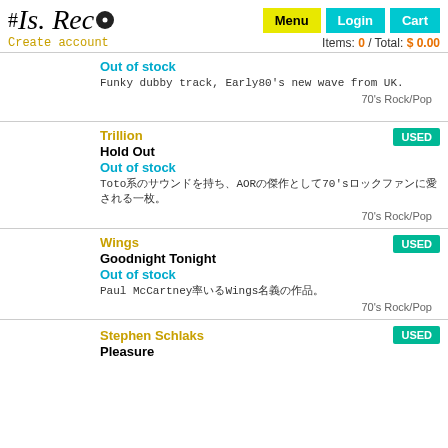#Is.Recs — Menu | Login | Cart — Items: 0 / Total: $0.00 — Create account
Out of stock
Funky dubby track, Early80's new wave from UK.
70's Rock/Pop
Trillion
Hold Out
Out of stock
Toto系AOR 70's...
70's Rock/Pop
Wings
Goodnight Tonight
Out of stock
Paul McCartney率いるWings名義の作品
70's Rock/Pop
Stephen Schlaks
Pleasure